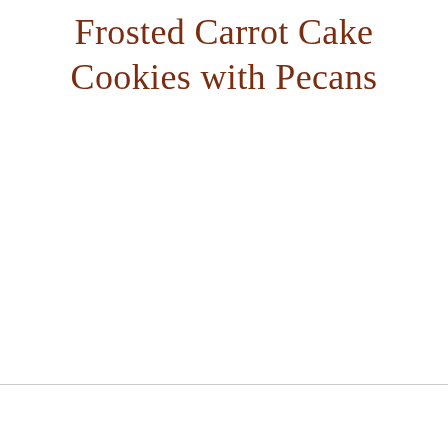Frosted Carrot Cake Cookies with Pecans